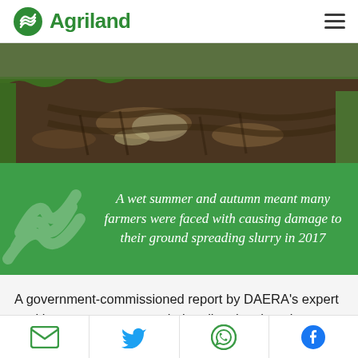Agriland
[Figure (photo): Muddy agricultural field with tractor tracks and waterlogged ground, green vegetation on edges]
A wet summer and autumn meant many farmers were faced with causing damage to their ground spreading slurry in 2017
A government-commissioned report by DAERA's expert working group recommended ending the slurry ban more than a year ago, AgriLand can reveal.
Social sharing icons: email, Twitter, WhatsApp, Facebook